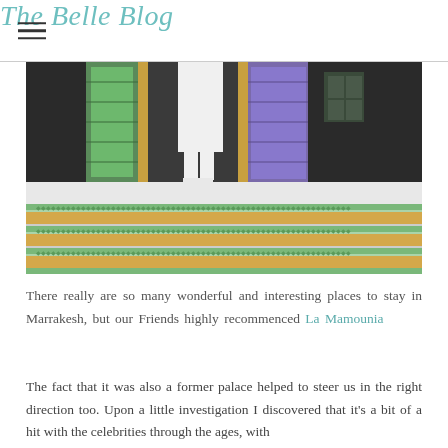The Belle Blog
[Figure (photo): Person in white outfit and white boots standing on ornate Moroccan tiled steps with green and gold mosaic patterns and decorative mosaic wall in the background]
There really are so many wonderful and interesting places to stay in Marrakesh, but our Friends highly recommenced La Mamounia
The fact that it was also a former palace helped to steer us in the right direction too. Upon a little investigation I discovered that it's a bit of a hit with the celebrities through the ages, with